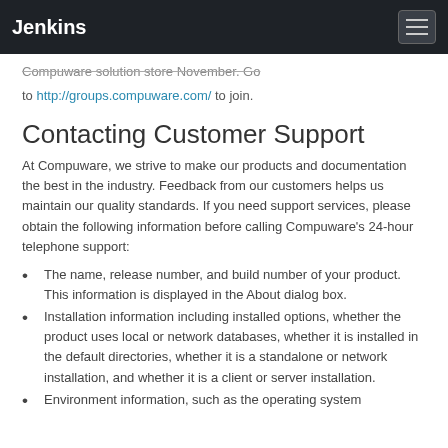Jenkins
Compuware solution store November. Go to http://groups.compuware.com/ to join.
Contacting Customer Support
At Compuware, we strive to make our products and documentation the best in the industry. Feedback from our customers helps us maintain our quality standards. If you need support services, please obtain the following information before calling Compuware's 24-hour telephone support:
The name, release number, and build number of your product. This information is displayed in the About dialog box.
Installation information including installed options, whether the product uses local or network databases, whether it is installed in the default directories, whether it is a standalone or network installation, and whether it is a client or server installation.
Environment information, such as the operating system